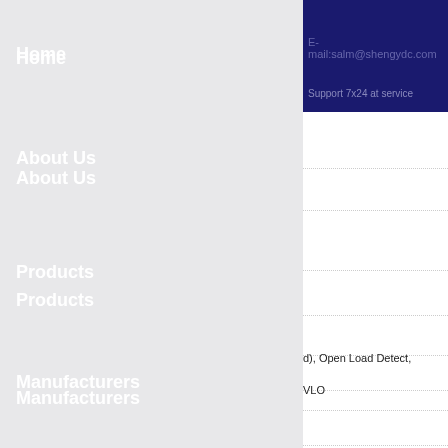Home
About Us
Products
Manufacturers
Request Quote
Contact Us
E-mail:salm@shengydc.com
Support 7x24 at service
d), Open Load Detect,
VLO